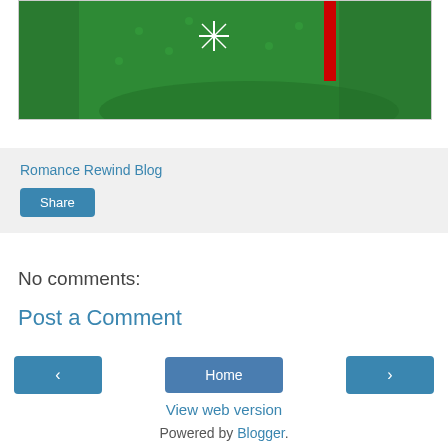[Figure (photo): Partial view of a green sparkly shoe/sneaker with red accent, cropped at top of page, shown inside a white bordered container]
Romance Rewind Blog
Share
No comments:
Post a Comment
‹
Home
›
View web version
Powered by Blogger.